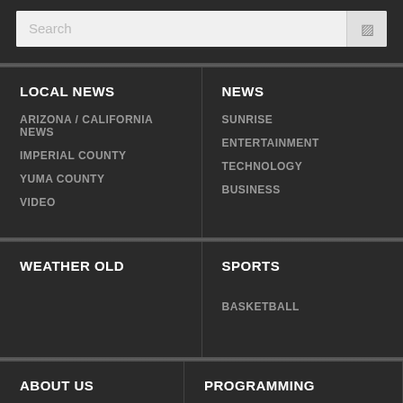[Figure (screenshot): Search bar with placeholder text 'Search' and a search icon button on the right, on a dark background]
LOCAL NEWS
ARIZONA / CALIFORNIA NEWS
IMPERIAL COUNTY
YUMA COUNTY
VIDEO
NEWS
SUNRISE
ENTERTAINMENT
TECHNOLOGY
BUSINESS
WEATHER OLD
SPORTS
BASKETBALL
ABOUT US
ADVERTISE
CONTACT US
NEWS TIPS
PROGRAMMING
KECY-DT PROGRAMMING
KSWT-DT PROGRAMMING
KYMA-DT PROGRAMMING